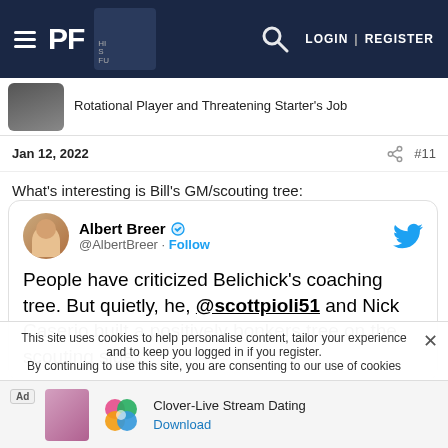PF | LOGIN | REGISTER
Rotational Player and Threatening Starter's Job
Jan 12, 2022  #11
What's interesting is Bill's GM/scouting tree:
[Figure (screenshot): Embedded tweet from Albert Breer (@AlbertBreer) with blue verified checkmark and Follow link. Tweet text: People have criticized Belichick's coaching tree. But quietly, he, @scottpioli51 and Nick Caserio built a positively bonkers tree on the scouting side.]
This site uses cookies to help personalise content, tailor your experience and to keep you logged in if you register. By continuing to use this site, you are consenting to our use of cookies
Ad  Clover-Live Stream Dating  Download